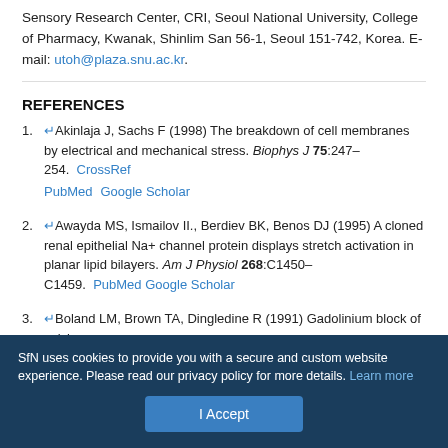Sensory Research Center, CRI, Seoul National University, College of Pharmacy, Kwanak, Shinlim San 56-1, Seoul 151-742, Korea. E-mail: utoh@plaza.snu.ac.kr.
REFERENCES
Akinlaja J, Sachs F (1998) The breakdown of cell membranes by electrical and mechanical stress. Biophys J 75:247–254. CrossRef PubMed Google Scholar
Awayda MS, Ismailov II., Berdiev BK, Benos DJ (1995) A cloned renal epithelial Na+ channel protein displays stretch activation in planar lipid bilayers. Am J Physiol 268:C1450–C1459. PubMed Google Scholar
Boland LM, Brown TA, Dingledine R (1991) Gadolinium block of calcium ...
SfN uses cookies to provide you with a secure and custom website experience. Please read our privacy policy for more details. Learn more